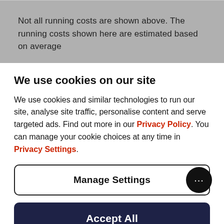Not all running costs are shown above. The running costs shown here are estimated based on average
We use cookies on our site
We use cookies and similar technologies to run our site, analyse site traffic, personalise content and serve targeted ads. Find out more in our Privacy Policy. You can manage your cookie choices at any time in Privacy Settings.
Manage Settings
Accept All